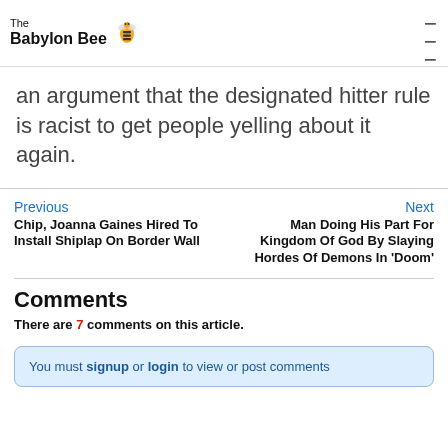The Babylon Bee
an argument that the designated hitter rule is racist to get people yelling about it again.
Previous
Chip, Joanna Gaines Hired To Install Shiplap On Border Wall
Next
Man Doing His Part For Kingdom Of God By Slaying Hordes Of Demons In 'Doom'
Comments
There are 7 comments on this article.
You must signup or login to view or post comments